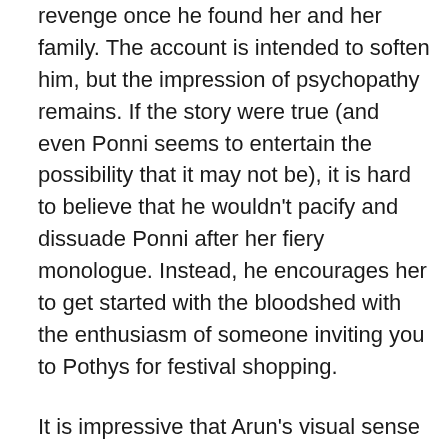revenge once he found her and her family. The account is intended to soften him, but the impression of psychopathy remains. If the story were true (and even Ponni seems to entertain the possibility that it may not be), it is hard to believe that he wouldn't pacify and dissuade Ponni after her fiery monologue. Instead, he encourages her to get started with the bloodshed with the enthusiasm of someone inviting you to Pothys for festival shopping.
It is impressive that Arun's visual sense can already be described as unmistakable, and its singularity owes to the fact that it is the product of a photographer's (as opposed to a cinematographer's) eye; his markedly static compositions deal in rectilinearity, harsh contrasts and earthy tints, peg the horizon below the mean of the frame, decentre subjects, double frame them, carve out deep space between picture planes and exhibit the kind of